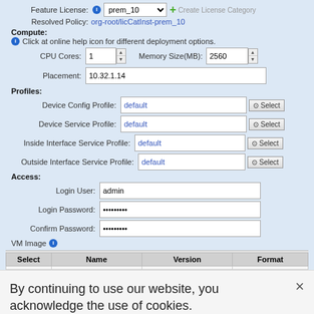[Figure (screenshot): UI form screenshot showing Feature License, Compute, Profiles, and Access configuration fields with a VM Image table header. Fields include prem_10 license, CPU Cores=1, Memory Size=2560MB, Placement=10.32.1.14, Device Config/Service/Interface profiles set to 'default', Login User=admin, Login Password and Confirm Password masked. Table shows Select, Name, Version, Format columns.]
By continuing to use our website, you acknowledge the use of cookies.
Privacy Statement > Change Settings >